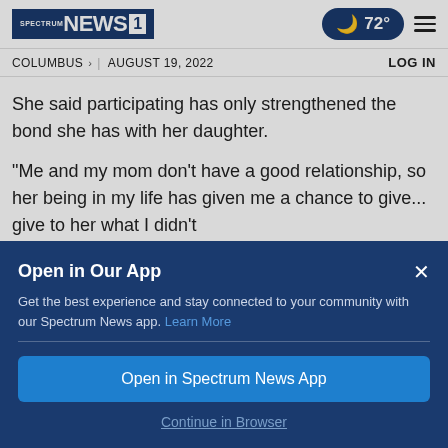SPECTRUM NEWS1 | 72° | COLUMBUS > | AUGUST 19, 2022 | LOG IN
She said participating has only strengthened the bond she has with her daughter.
“Me and my mom don’t have a good relationship, so her being in my life has given me a chance to give... give to her what I didn’t
Open in Our App
Get the best experience and stay connected to your community with our Spectrum News app. Learn More
Open in Spectrum News App
Continue in Browser